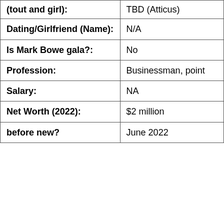| Field | Value |
| --- | --- |
| (tout and girl): | TBD (Atticus) |
| Dating/Girlfriend (Name): | N/A |
| Is Mark Bowe gala?: | No |
| Profession: | Businessman, point |
| Salary: | NA |
| Net Worth (2022): | $2 million |
| before new? | June 2022 |